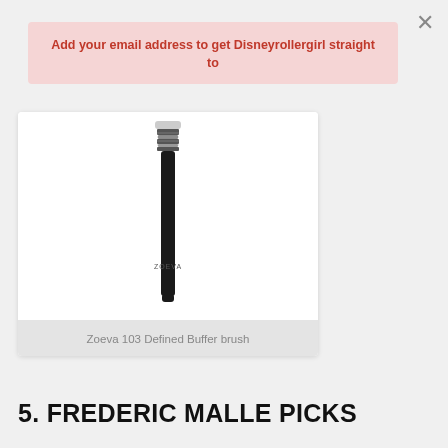×
Add your email address to get Disneyrollergirl straight to
[Figure (photo): Zoeva 103 Defined Buffer brush — black handle with silver ferrule, shown vertically]
Zoeva 103 Defined Buffer brush
5. FREDERIC MALLE PICKS